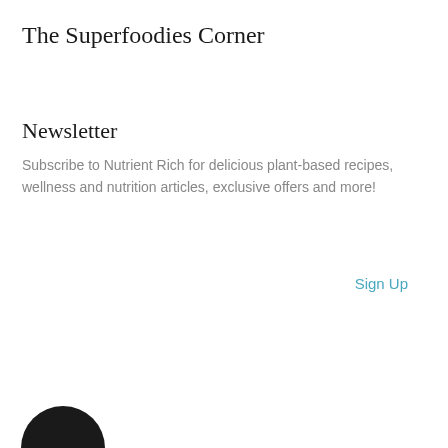The Superfoodies Corner
Newsletter
Subscribe to Nutrient Rich for delicious plant-based recipes, wellness and nutrition articles, exclusive offers and more!
Sign Up
[Figure (illustration): Dark circular avatar/profile image partially visible at the bottom left of the page]